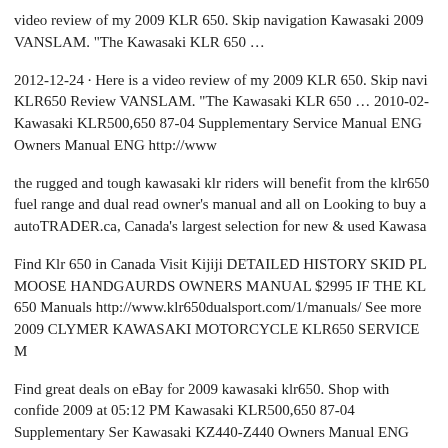video review of my 2009 KLR 650. Skip navigation Kawasaki 2009 VANSLAM. "The Kawasaki KLR 650 …
2012-12-24 · Here is a video review of my 2009 KLR 650. Skip navi KLR650 Review VANSLAM. "The Kawasaki KLR 650 … 2010-02- Kawasaki KLR500,650 87-04 Supplementary Service Manual ENG Owners Manual ENG http://www
the rugged and tough kawasaki klr riders will benefit from the klr650 fuel range and dual read owner's manual and all on Looking to buy a autoTRADER.ca, Canada's largest selection for new & used Kawasa
Find Klr 650 in Canada Visit Kijiji DETAILED HISTORY SKID PL MOOSE HANDGAURDS OWNERS MANUAL $2995 IF THE KL 650 Manuals http://www.klr650dualsport.com/1/manuals/ See more 2009 CLYMER KAWASAKI MOTORCYCLE KLR650 SERVICE M
Find great deals on eBay for 2009 kawasaki klr650. Shop with confide 2009 at 05:12 PM Kawasaki KLR500,650 87-04 Supplementary Ser Kawasaki KZ440-Z440 Owners Manual ENG http://www